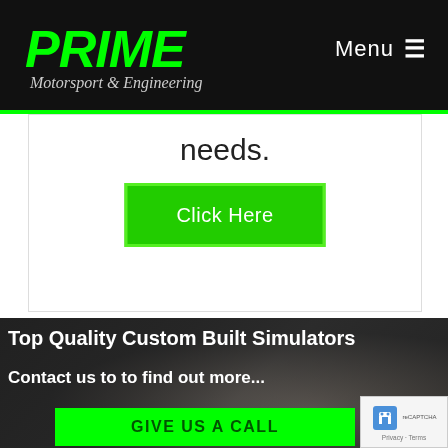PRIME Motorsport & Engineering — Menu
needs.
Click Here
Top Quality Custom Built Simulators
Contact us to to find out more...
GIVE US A CALL